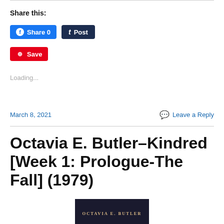Share this:
Share 0
Post
Save
Loading...
March 8, 2021
Leave a Reply
Octavia E. Butler–Kindred [Week 1: Prologue-The Fall] (1979)
[Figure (photo): Book cover of Kindred by Octavia E. Butler showing the author name in gold letters on dark background]